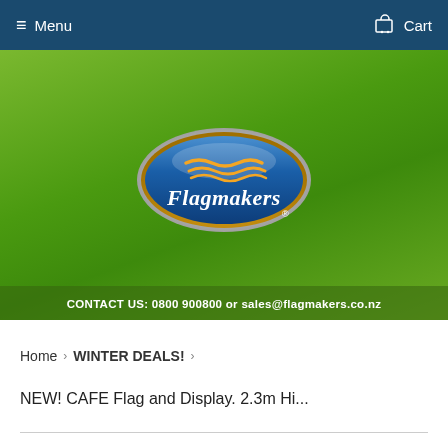Menu   Cart
[Figure (logo): Flagmakers logo — blue oval with silver border on green background, orange wave motif, white italic 'Flagmakers' text, registered trademark symbol]
CONTACT US: 0800 900800 or sales@flagmakers.co.nz
Home › WINTER DEALS! ›
NEW! CAFE Flag and Display. 2.3m Hi...